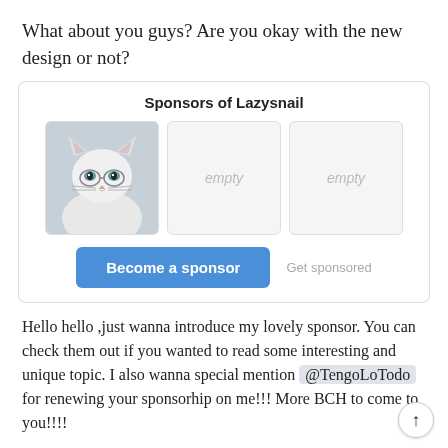What about you guys? Are you okay with the new design or not?
[Figure (screenshot): Sponsors of Lazysnail widget showing one cat avatar photo and two empty sponsor slots, a 'Become a sponsor' blue button, and a 'Get sponsored' text link.]
Hello hello ,just wanna introduce my lovely sponsor. You can check them out if you wanted to read some interesting and unique topic. I also wanna special mention @TengoLoTodo for renewing your sponsorhip on me!!! More BCH to come to you!!!!